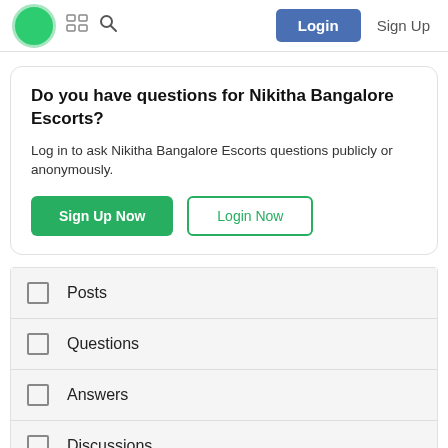Login | Sign Up
Do you have questions for Nikitha Bangalore Escorts?
Log in to ask Nikitha Bangalore Escorts questions publicly or anonymously.
Sign Up Now | Login Now
Posts
Questions
Answers
Discussions